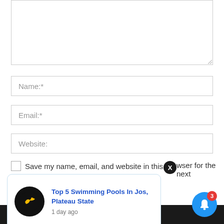[Figure (screenshot): Comment form textarea (empty, top portion visible with resize handle)]
Name:*
Email:*
Website:
Save my name, email, and website in this browser for the next
[Figure (screenshot): Browser push notification popup: logo on left (yellow bird on black circle), title 'Top 5 Swimming Pools In Jos, Plateau State' in blue, timestamp '1 day ago'. Beside it an X close button (black circle with white X). Bottom right has a blue bell icon button with red badge showing '3'.]